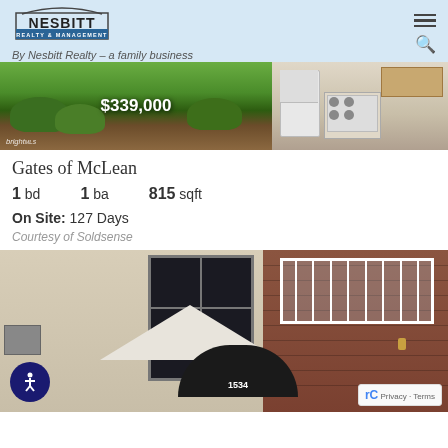Nesbitt Realty & Management — By Nesbitt Realty – a family business
[Figure (photo): Two property listing photos side by side: left shows outdoor greenery/landscaping with $339,000 price overlay and bright MLS badge; right shows a kitchen interior with appliances.]
Gates of McLean
1 bd   1 ba   815 sqft
On Site: 127 Days
Courtesy of Soldsense
[Figure (photo): Exterior photo of brick and siding apartment building at 1534, showing entrance with black dome awning, balconies with white railings, and architectural details.]